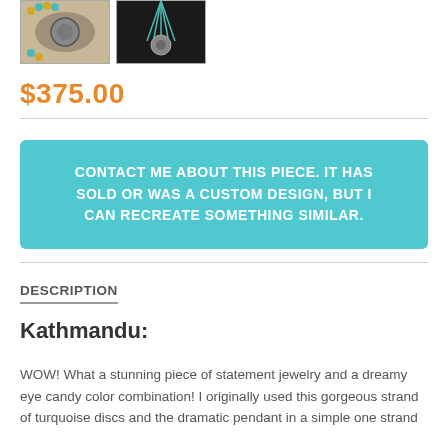[Figure (photo): Two product photos of jewelry items: left shows a necklace with yellow and turquoise beads with a decorative pendant; right shows a necklace with turquoise tassel and circular pendant on dark background.]
$375.00
CONTACT ME ABOUT THIS PIECE. IT HAS SOLD OR WAS A CUSTOM DESIGN, BUT I CAN RECREATE SOMETHING SIMILAR.
DESCRIPTION
Kathmandu:
WOW! What a stunning piece of statement jewelry and a dreamy eye candy color combination! I originally used this gorgeous strand of turquoise discs and the dramatic pendant in a simple one strand